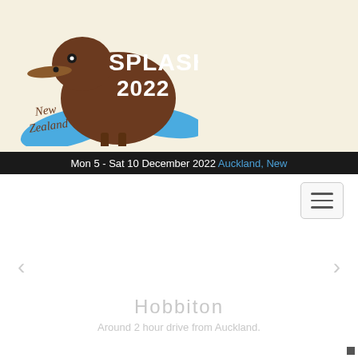[Figure (logo): SPLASH 2022 New Zealand kiwi bird logo with blue water splash, brown kiwi illustration with text 'SPLASH 2022' and 'New Zealand' in cursive]
Mon 5 - Sat 10 December 2022 Auckland, New
[Figure (screenshot): Hamburger menu icon (three horizontal lines) inside a rounded rectangle button]
[Figure (screenshot): Carousel left arrow navigation]
[Figure (screenshot): Carousel right arrow navigation]
Hobbiton
Around 2 hour drive from Auckland.